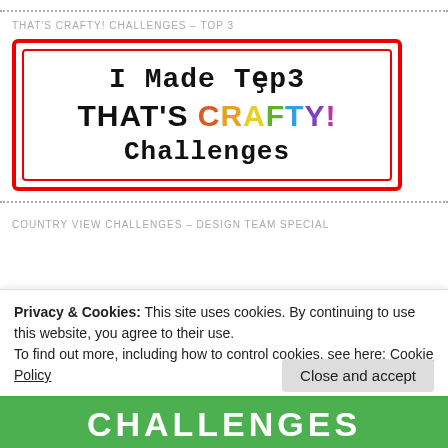THAT'S CRAFTY! CHALLENGES – TOP 3
[Figure (illustration): Badge image with red border reading 'I Made Top 3 THAT'S CRAFTY! Challenges' in mixed colorful fonts]
COUNTRY VIEW CHALLENGES – DESIGN TEAM SPECIAL
Privacy & Cookies: This site uses cookies. By continuing to use this website, you agree to their use.
To find out more, including how to control cookies, see here: Cookie Policy
[Figure (illustration): Partial view of a green challenges badge at the bottom of the page showing 'CHALLENGES' text]